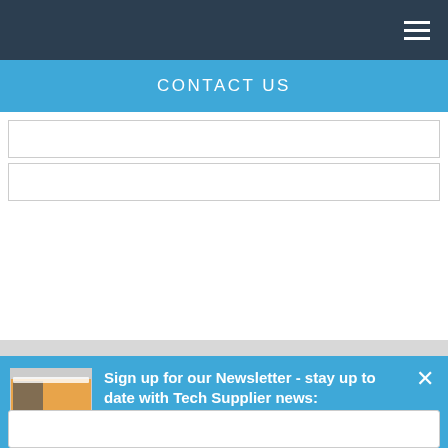CONTACT US
[Figure (screenshot): Two form input fields for a contact form on a white background]
[Figure (logo): NET(net) logo with dot-matrix circle pattern and 'Powered by WINMINI' text]
[Figure (screenshot): Newsletter signup popup with thumbnail image on left, text on right reading 'Sign up for our Newsletter - stay up to date with Tech Supplier news:', with close (x) button and email input field at bottom]